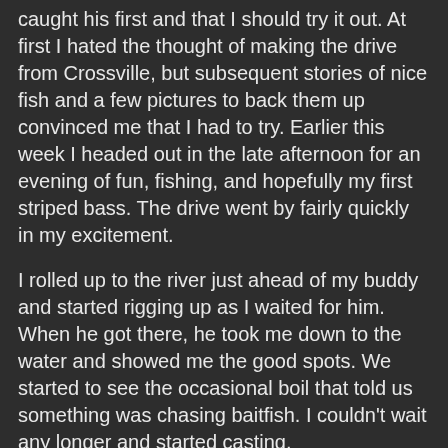caught his first and that I should try it out. At first I hated the thought of making the drive from Crossville, but subsequent stories of nice fish and a few pictures to back them up convinced me that I had to try. Earlier this week I headed out in the late afternoon for an evening of fun, fishing, and hopefully my first striped bass. The drive went by fairly quickly in my excitement.
I rolled up to the river just ahead of my buddy and started rigging up as I waited for him. When he got there, he took me down to the water and showed me the good spots. We started to see the occasional boil that told us something was chasing baitfish. I couldn't wait any longer and started casting.
After what seemed like only a few minutes but was probably more like 20 or 30, I felt a hard bump and set the hook with authority. Immediately I knew that whatever I was attached to was much stronger than 99% of all other fish I've ever hooked. I was fishing my 7 weight, and the fish was still very much in control of the situation. Minutes later I finally saw the fish and realized that my long search for a striper was over...